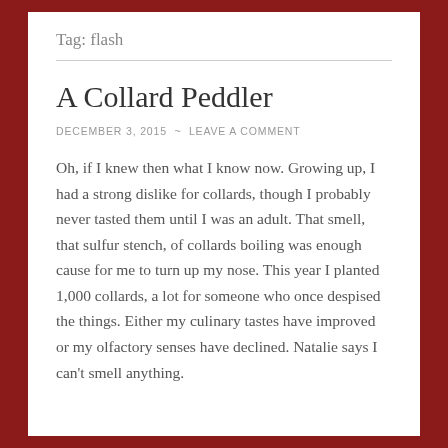Tag: flash
A Collard Peddler
DECEMBER 3, 2015  ~  LEAVE A COMMENT
Oh, if I knew then what I know now. Growing up, I had a strong dislike for collards, though I probably never tasted them until I was an adult. That smell, that sulfur stench, of collards boiling was enough cause for me to turn up my nose. This year I planted 1,000 collards, a lot for someone who once despised the things. Either my culinary tastes have improved or my olfactory senses have declined. Natalie says I can't smell anything.